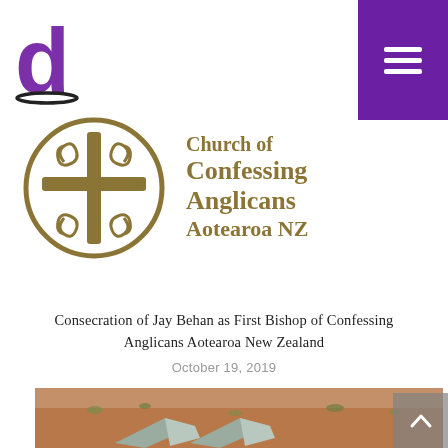[Figure (logo): Purple stylized lowercase letter 'd' logo in top-left corner]
[Figure (logo): Church of Confessing Anglicans Aotearoa NZ logo with decorative cross symbol in a circle and text]
Consecration of Jay Behan as First Bishop of Confessing Anglicans Aotearoa New Zealand
October 19, 2019
[Figure (photo): Outdoor photo showing two angular concrete or stone shapes on dry reddish-brown soil with sparse grass]